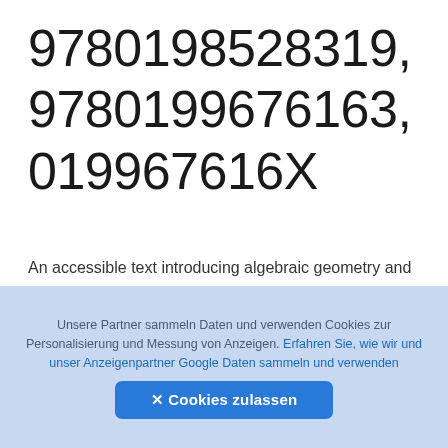9780198528319, 9780199676163, 019967616X
An accessible text introducing algebraic geometry and algebraic groups at advanced undergraduate and early graduate leve
👁 512  ⬇ 125  📄 2MB
🌐 English   Pages 320   Year 2003
⚑ Report DMCA/Copyright
Unsere Partner sammeln Daten und verwenden Cookies zur Personalisierung und Messung von Anzeigen. Erfahren Sie, wie wir und unser Anzeigenpartner Google Daten sammeln und verwenden
✕ Cookies zulassen